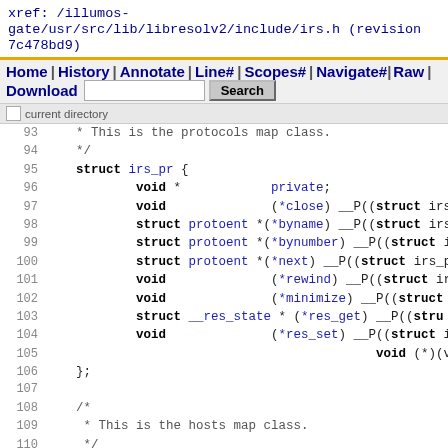xref: /illumos-gate/usr/src/lib/libresolv2/include/irs.h (revision 7c478bd9)
Home | History | Annotate | Line# | Scopes# | Navigate# | Raw | Download   [Search button]
current directory
93  * This is the protocols map class.
94  */
95      struct irs_pr {
96              void *                  private;
97              void                    (*close) __P((struct irs_p
98              struct protoent *(*byname) __P((struct irs
99              struct protoent *(*bynumber) __P((struct i
100             struct protoent *(*next) __P((struct irs_p
101             void                    (*rewind) __P((struct irs_
102             void                    (*minimize) __P((struct ir
103             struct __res_state * (*res_get) __P((stru
104             void                    (*res_set) __P((struct irs
105                                                     void (*)(v
106     };
107
108     /*
109      * This is the hosts map class.
110      */
111     struct irs_ho {
112             void *                  private;
113             void                    (*close) __P((struct irs_h
114             struct hostent *(*byname) __P((struct irs_
115             struct hostent *(*byname2)  _P((struct irs